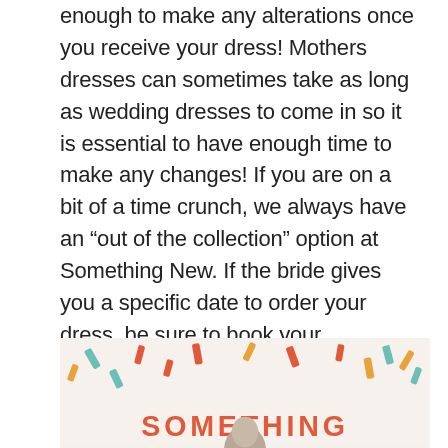enough to make any alterations once you receive your dress! Mothers dresses can sometimes take as long as wedding dresses to come in so it is essential to have enough time to make any changes! If you are on a bit of a time crunch, we always have an “out of the collection” option at Something New. If the bride gives you a specific date to order your dress, be sure to book your Something New appointment as soon as possible!
[Figure (photo): Bottom portion of a promotional image for 'Something New' bridal shop, showing colorful confetti pieces scattered on a light background with the word SOMETHING in bold coral/red letters, and the top of a person's head visible at the bottom center.]